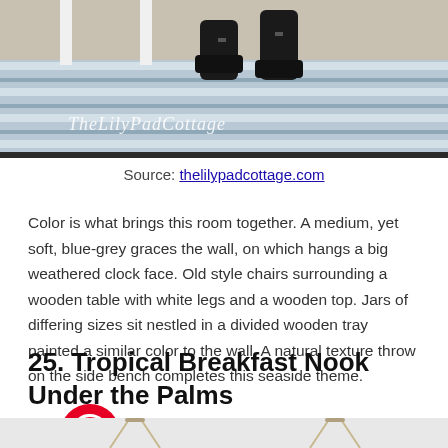[Figure (photo): Photo of boots and striped rug with TheLilyPadCottage watermark in cursive text]
Source: thelilypadcottage.com
Color is what brings this room together. A medium, yet soft, blue-grey graces the wall, on which hangs a big weathered clock face. Old style chairs surrounding a wooden table with white legs and a wooden top. Jars of differing sizes sit nestled in a divided wooden tray painted a similar color to the wall. A natural texture throw on the side bench completes this seaside theme.
25. Tropical Breakfast Nook Under the Palms
[Figure (photo): Pinterest save button overlay on top of photo showing hanging chairs/swings under palms - bottom portion of image only visible]